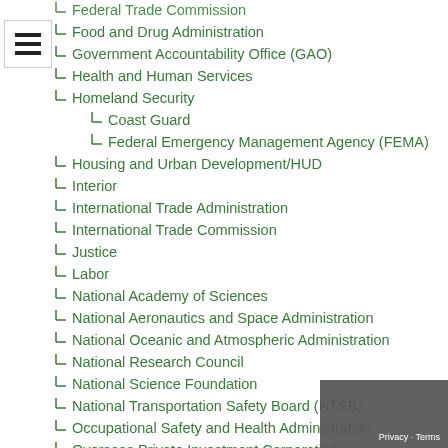Food and Drug Administration
Government Accountability Office (GAO)
Health and Human Services
Homeland Security
Coast Guard
Federal Emergency Management Agency (FEMA)
Housing and Urban Development/HUD
Interior
International Trade Administration
International Trade Commission
Justice
Labor
National Academy of Sciences
National Aeronautics and Space Administration
National Oceanic and Atmospheric Administration
National Research Council
National Science Foundation
National Transportation Safety Board (NTSB)
Occupational Safety and Health Administration
Overseas Private Investment Corporation
Patent and Trademark Office
Securities and Exchange Commission
State